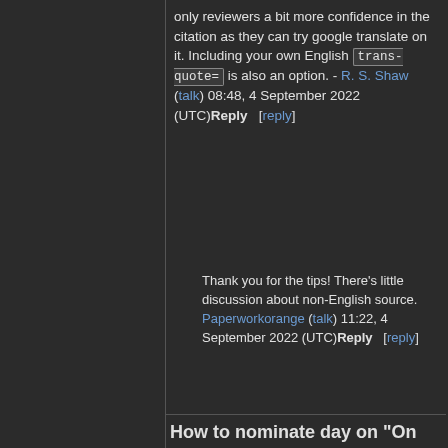only reviewers a bit more confidence in the citation as they can try google translate on it. Including your own English trans-quote= is also an option. - R. S. Shaw (talk) 08:48, 4 September 2022 (UTC) Reply [reply]
Thank you for the tips! There's little discussion about non-English source. Paperworkorange (talk) 11:22, 4 September 2022 (UTC) Reply [reply]
How to nominate day on "On